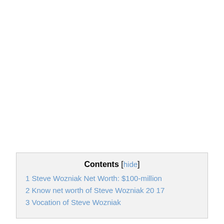Contents [hide]
1 Steve Wozniak Net Worth: $100-million
2 Know net worth of Steve Wozniak 20 17
3 Vocation of Steve Wozniak